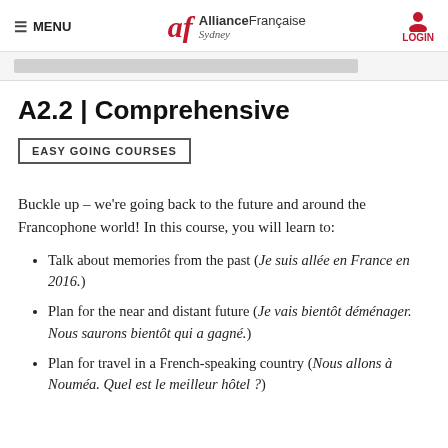MENU | Alliance Française Sydney | LOGIN
A2.2 | Comprehensive
EASY GOING COURSES
Buckle up – we're going back to the future and around the Francophone world! In this course, you will learn to:
Talk about memories from the past (Je suis allée en France en 2016.)
Plan for the near and distant future (Je vais bientôt déménager. Nous saurons bientôt qui a gagné.)
Plan for travel in a French-speaking country (Nous allons à Nouméa. Quel est le meilleur hôtel ?)